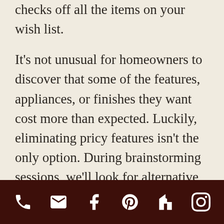checks off all the items on your wish list.
It's not unusual for homeowners to discover that some of the features, appliances, or finishes they want cost more than expected. Luckily, eliminating pricy features isn't the only option. During brainstorming sessions, we'll look for alternative products or come up with creative design and construction solutions that won't break your budget.
Interested in starting the design process for your custom home? If you live in the Seacoast New Hampshire, Coastal Maine, or Northern
phone | email | facebook | pinterest | houzz | instagram